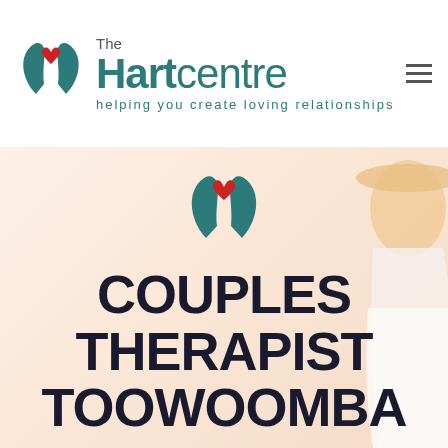[Figure (logo): The Hart Centre logo with teal hands/leaves and red heart icon, with company name 'The Hartcentre' and tagline 'helping you create loving relationships']
[Figure (photo): Hero section with warm peachy background, Hart Centre logo icon centered, large bold text reading 'COUPLES THERAPIST TOOWOOMBA', and partial photo of a woman in white with a hat on the right side]